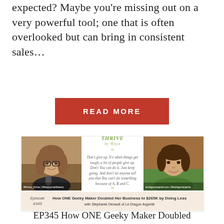expected? Maybe you're missing out on a very powerful tool; one that is often overlooked but can bring in consistent sales...
READ MORE
[Figure (photo): Podcast episode card for 'Thrive by Maya' Episode #345: How ONE Geeky Maker Doubled Her Business to $265K by Doing Less with Stephanie Denault of Le Dragon Argenté. Shows two photos of women and a central quote panel.]
EP345 How ONE Geeky Maker Doubled